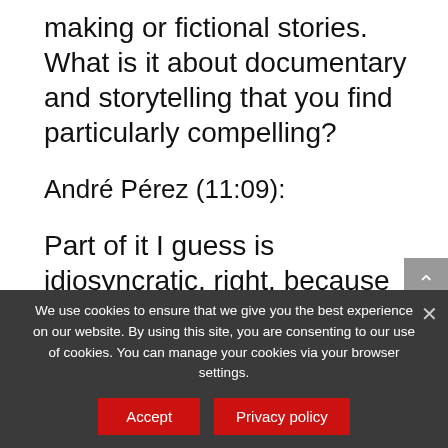making or fictional stories. What is it about documentary and storytelling that you find particularly compelling?
André Pérez (11:09):
Part of it I guess is idiosyncratic, right. because it's like I actually don't really watch fictional media very much or read fictional books, like I'm much more excited about nonfiction. I mean,
We use cookies to ensure that we give you the best experience on our website. By using this site, you are consenting to our use of cookies. You can manage your cookies via your browser settings.